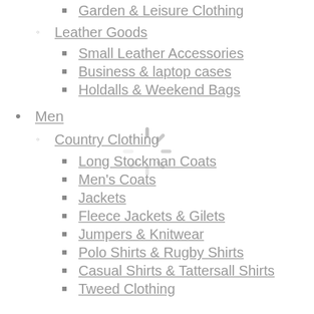Garden & Leisure Clothing
Leather Goods
Small Leather Accessories
Business & laptop cases
Holdalls & Weekend Bags
Men
Country Clothing
Long Stockman Coats
Men's Coats
Jackets
Fleece Jackets & Gilets
Jumpers & Knitwear
Polo Shirts & Rugby Shirts
Casual Shirts & Tattersall Shirts
Tweed Clothing